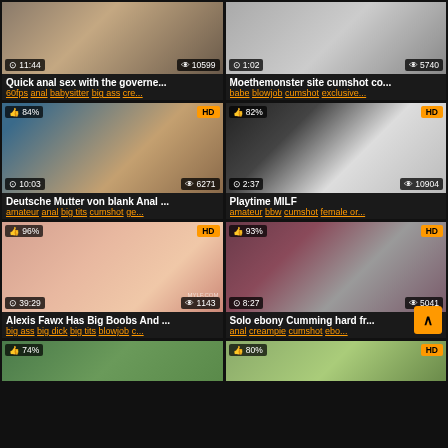[Figure (screenshot): Video thumbnail grid showing adult content listings with titles, tags, view counts, and duration badges]
Quick anal sex with the governe... | 11:44 | 10599 views | tags: 60fps anal babysitter big ass cre...
Moethemonster site cumshot co... | 1:02 | 5740 views | tags: babe blowjob cumshot exclusive...
Deutsche Mutter von blank Anal ... | 84% | 10:03 | 6271 views | tags: amateur anal big tits cumshot ge...
Playtime MILF | 82% | 2:37 | 10904 views | tags: amateur bbw cumshot female or...
Alexis Fawx Has Big Boobs And ... | 96% | 39:29 | 1143 views | tags: big ass big dick big tits blowjob c...
Solo ebony Cumming hard fr... | 93% | 8:27 | 5041 views | tags: anal creampie cumshot ebo...
74% thumbnail | HD badge
80% thumbnail